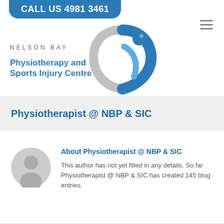CALL US 4981 3461
[Figure (logo): Nelson Bay Physiotherapy and Sports Injury Centre logo with blue figure and text]
Physiotherapist @ NBP & SIC
About Physiotherapist @ NBP & SIC
This author has not yet filled in any details. So far Physiotherapist @ NBP & SIC has created 145 blog entries.